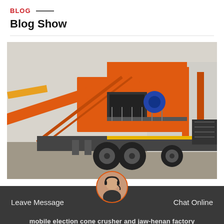BLOG
Blog Show
[Figure (photo): A large orange mobile crushing plant / mining equipment mounted on a heavy-duty truck with multiple axles, photographed in a factory yard. The machine features orange steel framework, conveyor belts, a jaw crusher, and safety railings.]
Leave Message   Chat Online
mobile election cone crusher and jaw-henan factory